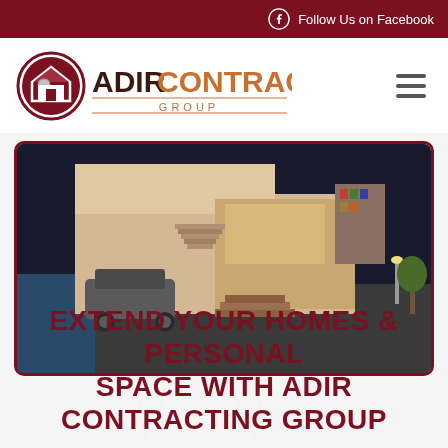Follow Us on Facebook
[Figure (logo): Adir Contracting Group logo with red house icon and orange/dark text]
[Figure (photo): 3D rendering of a modern home interior/exterior showing an open-plan living space with staircase, parked SUV in garage, pool area, bookshelves, bedroom area, and outdoor garden lighting at night]
EXTEND YOUR HOMES & PERSONAL SPACE WITH ADIR CONTRACTING GROUP